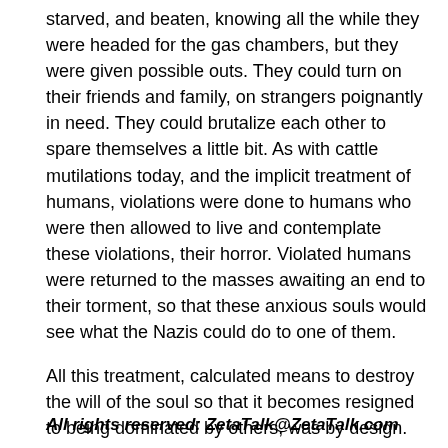starved, and beaten, knowing all the while they were headed for the gas chambers, but they were given possible outs. They could turn on their friends and family, on strangers poignantly in need. They could brutalize each other to spare themselves a little bit. As with cattle mutilations today, and the implicit treatment of humans, violations were done to humans who were then allowed to live and contemplate these violations, their horror. Violated humans were returned to the masses awaiting an end to their torment, so that these anxious souls would see what the Nazis could do to one of them.
All this treatment, calculated means to destroy the will of the soul so that it becomes resigned to being dominated by others, was by design. Senior members of the Service-to-Self orientation were in attendance to assist those humans who gave The Call to them.
All rights reserved: ZetaTalk@ZetaTalk.com